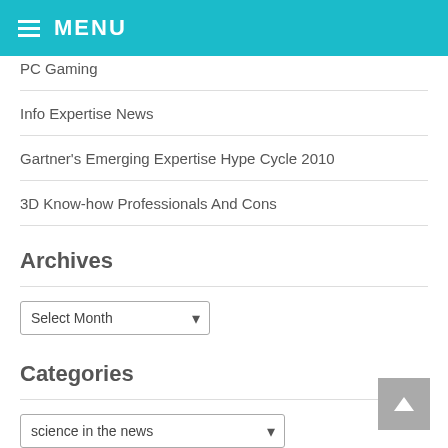MENU
PC Gaming
Info Expertise News
Gartner's Emerging Expertise Hype Cycle 2010
3D Know-how Professionals And Cons
Archives
Select Month (dropdown)
Categories
science in the news (dropdown)